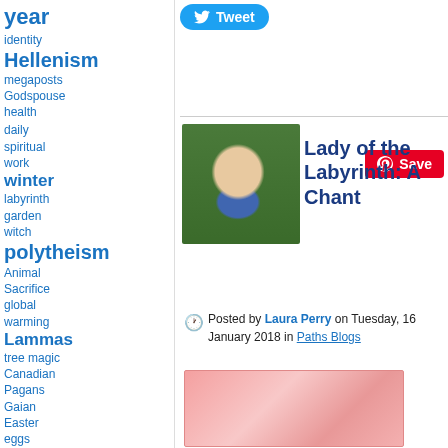year
identity
Hellenism
megaposts
Godspouse
health daily spiritual work
winter
labyrinth
garden
witch
polytheism
Animal Sacrifice
global warming
Lammas
tree magic
Canadian Pagans
Gaian
Easter eggs
Divine Feminine
Imbolc
animals
Parenting
Tribe
Altars
protection magic
Reclaiming
ukraine
ancient history
crystals
[Figure (screenshot): Tweet button (blue rounded rectangle)]
[Figure (screenshot): Pinterest Save button (red rounded rectangle)]
[Figure (photo): Portrait photo of Laura Perry, a woman in a blue top outdoors]
Lady of the Labyrinth: A Chant
Posted by Laura Perry on Tuesday, 16 January 2018 in Paths Blogs
[Figure (photo): Pink-toned decorative image related to the blog post]